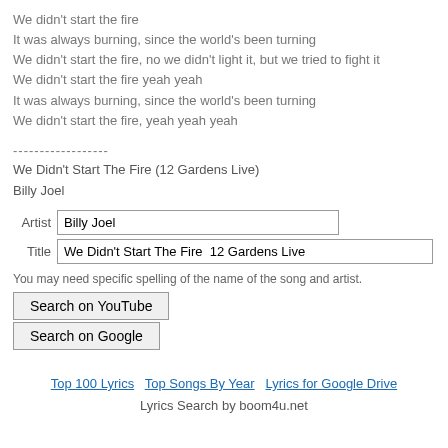We didn't start the fire
It was always burning, since the world's been turning
We didn't start the fire, no we didn't light it, but we tried to fight it
We didn't start the fire yeah yeah
It was always burning, since the world's been turning
We didn't start the fire, yeah yeah yeah
------------------
We Didn't Start The Fire (12 Gardens Live)
Billy Joel
Artist  Billy Joel
Title  We Didn't Start The Fire  12 Gardens Live
You may need specific spelling of the name of the song and artist.
Search on YouTube
Search on Google
Top 100 Lyrics   Top Songs By Year   Lyrics for Google Drive
Lyrics Search by boom4u.net